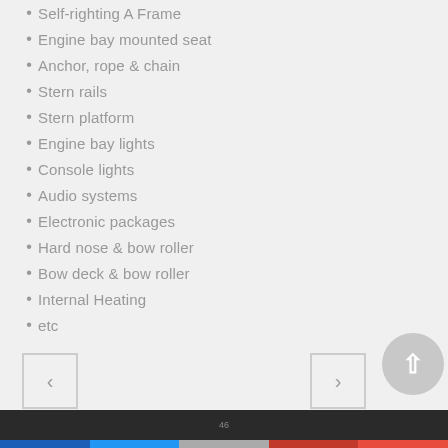Self-righting A Frame
Engine bay mounted seat
Anchor, rope & chain
Stern rails
Stern platform
Engine bay lights
Console lights
Audio systems
Electronic packages
Hard nose & bow roller
Bow deck & bow roller
Internal Heating
etc
46